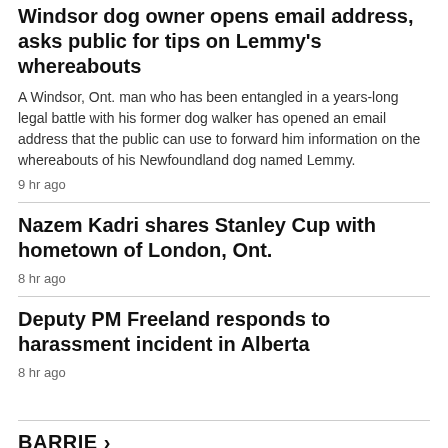Windsor dog owner opens email address, asks public for tips on Lemmy's whereabouts
A Windsor, Ont. man who has been entangled in a years-long legal battle with his former dog walker has opened an email address that the public can use to forward him information on the whereabouts of his Newfoundland dog named Lemmy.
9 hr ago
Nazem Kadri shares Stanley Cup with hometown of London, Ont.
8 hr ago
Deputy PM Freeland responds to harassment incident in Alberta
8 hr ago
BARRIE >